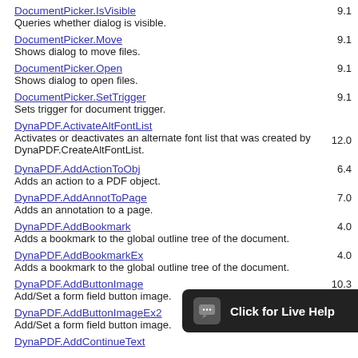DocumentPicker.IsVisible
Queries whether dialog is visible.
9.1
DocumentPicker.Move
Shows dialog to move files.
9.1
DocumentPicker.Open
Shows dialog to open files.
9.1
DocumentPicker.SetTrigger
Sets trigger for document trigger.
9.1
DynaPDF.ActivateAltFontList
Activates or deactivates an alternate font list that was created by DynaPDF.CreateAltFontList.
12.0
DynaPDF.AddActionToObj
Adds an action to a PDF object.
6.4
DynaPDF.AddAnnotToPage
Adds an annotation to a page.
7.0
DynaPDF.AddBookmark
Adds a bookmark to the global outline tree of the document.
4.0
DynaPDF.AddBookmarkEx
Adds a bookmark to the global outline tree of the document.
4.0
DynaPDF.AddButtonImage
Add/Set a form field button image.
10.3
DynaPDF.AddButtonImageEx2
Add/Set a form field button image.
11.5
DynaPDF.AddContinueText